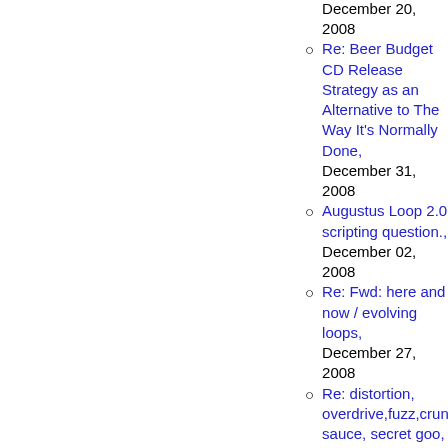recordings was: one guitarist one drummer, December 20, 2008
Re: Beer Budget CD Release Strategy as an Alternative to The Way It's Normally Done, December 31, 2008
Augustus Loop 2.0 scripting question., December 02, 2008
Re: Fwd: here and now / evolving loops, December 27, 2008
Re: distortion, overdrive,fuzz,crunch,special sauce, secret goo, December 20, 2008
Re: Beer Budget CD Release Strategy as an Alternative to The Way It's Normally Done, December 31, 2008
Re: Electro-music NYE Streaming Event